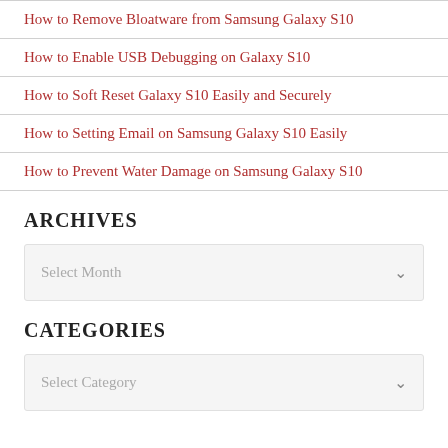How to Remove Bloatware from Samsung Galaxy S10
How to Enable USB Debugging on Galaxy S10
How to Soft Reset Galaxy S10 Easily and Securely
How to Setting Email on Samsung Galaxy S10 Easily
How to Prevent Water Damage on Samsung Galaxy S10
ARCHIVES
Select Month
CATEGORIES
Select Category